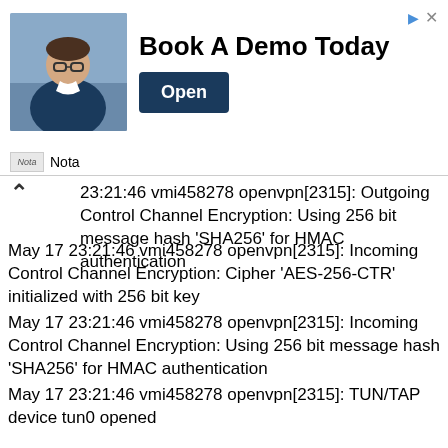[Figure (photo): Advertisement banner with photo of a man in glasses and suit, headline 'Book A Demo Today', and an 'Open' button]
Nota
23:21:46 vmi458278 openvpn[2315]: Outgoing Control Channel Encryption: Using 256 bit message hash 'SHA256' for HMAC authentication
May 17 23:21:46 vmi458278 openvpn[2315]: Incoming Control Channel Encryption: Cipher 'AES-256-CTR' initialized with 256 bit key
May 17 23:21:46 vmi458278 openvpn[2315]: Incoming Control Channel Encryption: Using 256 bit message hash 'SHA256' for HMAC authentication
May 17 23:21:46 vmi458278 openvpn[2315]: TUN/TAP device tun0 opened
May 17 23:21:46 vmi458278 openvpn[2315]: TUN/TAP TX queue length set to 100
May 17 23:21:46 vmi458278 openvpn[2315]: /sbin/ip link set dev tun0 up mtu 1500
May 17 23:21:46 vmi458278 systemd[1]: Started OpenVPN service for server